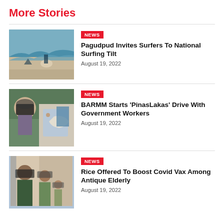More Stories
[Figure (photo): Surfers on a beach with waves]
NEWS
Pagudpud Invites Surfers To National Surfing Tilt
August 19, 2022
[Figure (photo): Person in mask receiving a vaccine injection]
NEWS
BARMM Starts 'PinasLakas' Drive With Government Workers
August 19, 2022
[Figure (photo): People with face masks, including children]
NEWS
Rice Offered To Boost Covid Vax Among Antique Elderly
August 19, 2022